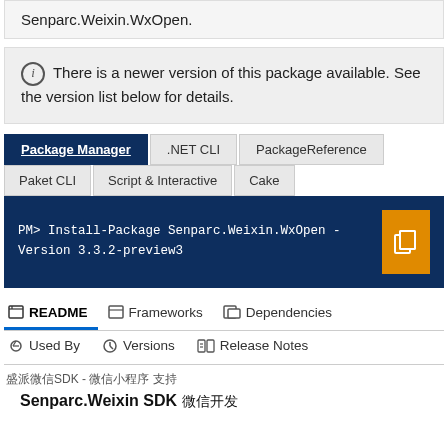Senparc.Weixin.WxOpen.
ⓘ There is a newer version of this package available. See the version list below for details.
Package Manager | .NET CLI | PackageReference | Paket CLI | Script & Interactive | Cake
PM> Install-Package Senparc.Weixin.WxOpen -Version 3.3.2-preview3
README | Frameworks | Dependencies | Used By | Versions | Release Notes
盛派微信SDK - 微信小程序 支持
Senparc.Weixin SDK 微信开发